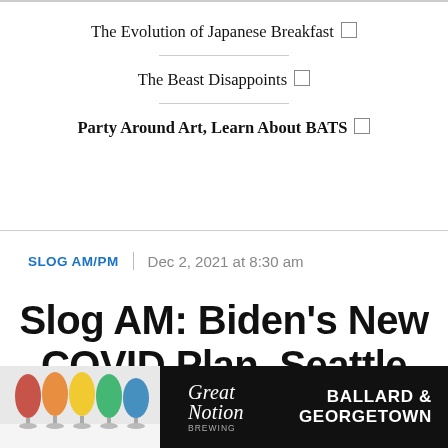The Evolution of Japanese Breakfast ☒
The Beast Disappoints ☒
Party Around Art, Learn About BATS ☒
SLOG AM/PM  |  Dec 2, 2021 at 8:30 am
Slog AM: Biden's New COVID Plan, Seattle Students Stage Protest,
[Figure (photo): Advertisement for Great Notion Brewing - Ballard & Georgetown, showing colorful wine glasses on the left side]